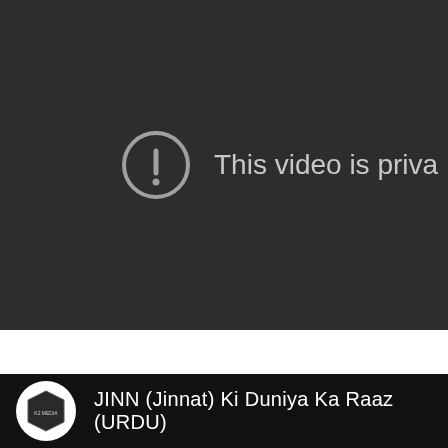[Figure (screenshot): YouTube private video error screen: dark gray background with a circular exclamation mark icon and text 'This video is priva' (truncated). Below is a white gap, then a dark channel bar showing a channel logo and text 'JINN (Jinnat) Ki Duniya Ka Raaz (URDU)'.]